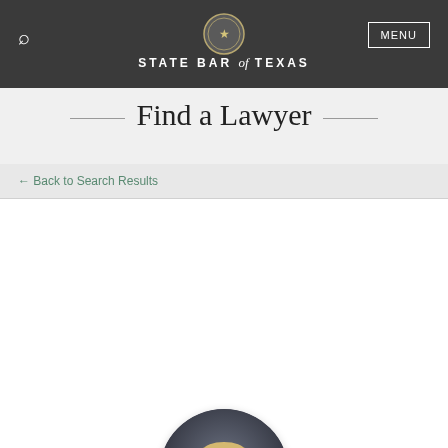State Bar of Texas
Find a Lawyer
← Back to Search Results
[Figure (photo): Circular headshot photo of Ms. Sonya B. Coffman, a woman with short blonde hair wearing a dark jacket and pearl necklace, posed against a dark background.]
MS. SONYA B. COFFMAN
Eligible to Practice in Texas
THE COFFMAN LAW FIRM